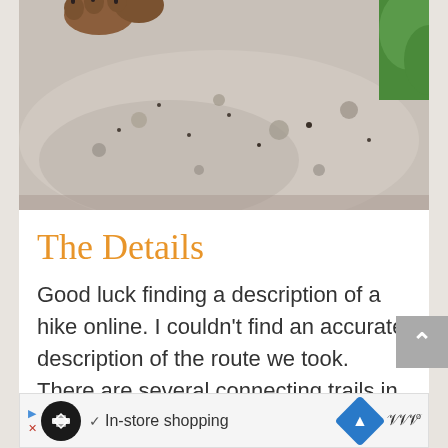[Figure (photo): Close-up photo of a dog's paws on a large granite rock with lichen, green foliage in background]
The Details
Good luck finding a description of a hike online. I couldn't find an accurate description of the route we took. There are several connecting trails in the area and every description I found used some variation of the trail network.
[Figure (screenshot): Advertisement banner showing: arrow icon, circular logo, checkmark, 'In-store shopping', blue diamond navigation icon, and wavy logo with degree symbol]